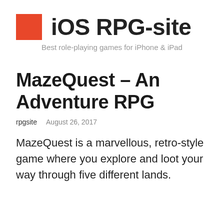iOS RPG-site
Best role-playing games for iPhone & iPad
MazeQuest – An Adventure RPG
rpgsite    August 26, 2017
MazeQuest is a marvellous, retro-style game where you explore and loot your way through five different lands.